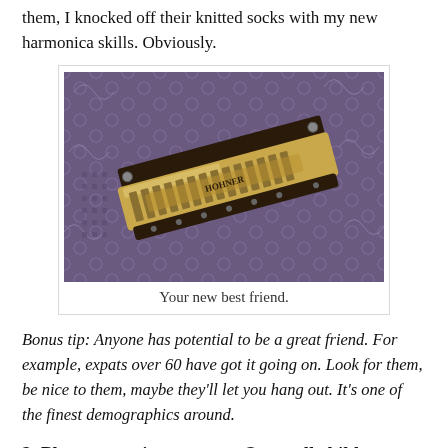them, I knocked off their knitted socks with my new harmonica skills. Obviously.
[Figure (photo): A close-up photo of a harmonica lying on a decorative patterned purple/blue fabric background. The harmonica is silver/gold colored, viewed at a slight angle from above.]
Your new best friend.
Bonus tip: Anyone has potential to be a great friend. For example, expats over 60 have got it going on. Look for them, be nice to them, maybe they'll let you hang out. It's one of the finest demographics around.
2. Plan to acquire a puppy. Or small child.